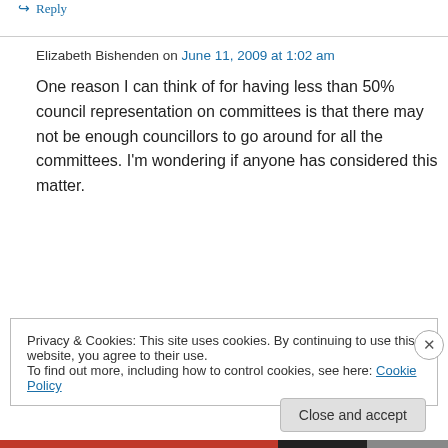↳ Reply
Elizabeth Bishenden on June 11, 2009 at 1:02 am
One reason I can think of for having less than 50% council representation on committees is that there may not be enough councillors to go around for all the committees. I'm wondering if anyone has considered this matter.
↳ Reply
Privacy & Cookies: This site uses cookies. By continuing to use this website, you agree to their use.
To find out more, including how to control cookies, see here: Cookie Policy
Close and accept